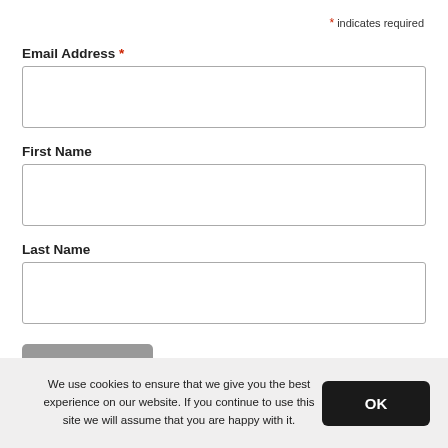* indicates required
Email Address *
[Figure (other): Empty text input field for Email Address]
First Name
[Figure (other): Empty text input field for First Name]
Last Name
[Figure (other): Empty text input field for Last Name]
[Figure (other): Subscribe button]
We use cookies to ensure that we give you the best experience on our website. If you continue to use this site we will assume that you are happy with it.
OK